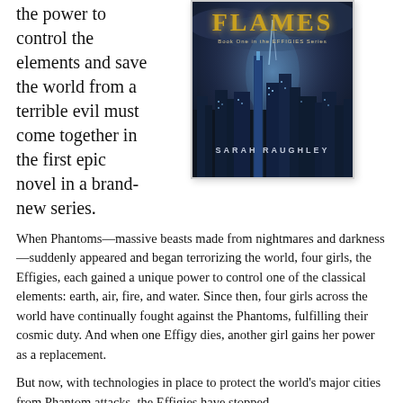the power to control the elements and save the world from a terrible evil must come together in the first epic novel in a brand-new series.
[Figure (illustration): Book cover of 'Flames: Book One in the Effigies Series' by Sarah Raughley, showing a dark cityscape with glowing blue buildings and storm clouds, gold stylized title text 'FLAMES' at the top.]
When Phantoms—massive beasts made from nightmares and darkness—suddenly appeared and began terrorizing the world, four girls, the Effigies, each gained a unique power to control one of the classical elements: earth, air, fire, and water. Since then, four girls across the world have continually fought against the Phantoms, fulfilling their cosmic duty. And when one Effigy dies, another girl gains her power as a replacement.
But now, with technologies in place to protect the world's major cities from Phantom attacks, the Effigies have stopped